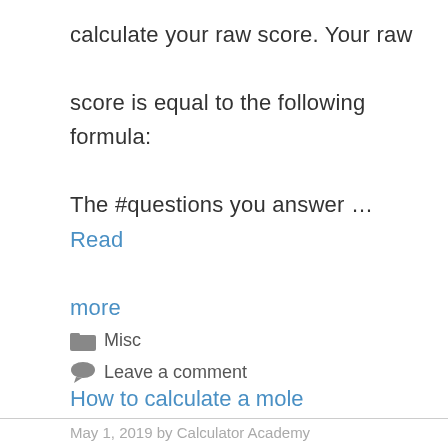calculate your raw score. Your raw score is equal to the following formula: The #questions you answer … Read more
🗂 Misc
💬 Leave a comment
How to calculate a mole
May 1, 2019 by Calculator Academy